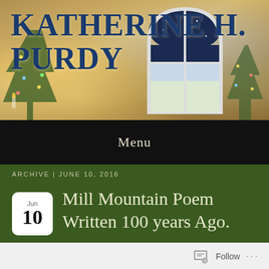[Figure (illustration): Blog header banner with wintertime background showing Christmas trees, candles, and an arched window with snowy scene. Large blue text reads KATHERINE H. PURDY.]
KATHERINE H. PURDY
Menu
ARCHIVE | JUNE 10, 2016
Mill Mountain Poem Written 100 years Ago.
Follow ...